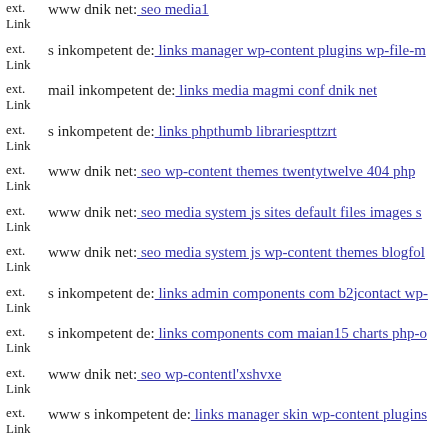ext. Link www dnik net: seo media1
ext. Link s inkompetent de: links manager wp-content plugins wp-file-m
ext. Link mail inkompetent de: links media magmi conf dnik net
ext. Link s inkompetent de: links phpthumb librariespttzrt
ext. Link www dnik net: seo wp-content themes twentytwelve 404 php
ext. Link www dnik net: seo media system js sites default files images s
ext. Link www dnik net: seo media system js wp-content themes blogfol
ext. Link s inkompetent de: links admin components com b2jcontact wp-
ext. Link s inkompetent de: links components com maian15 charts php-o
ext. Link www dnik net: seo wp-contentl'xshvxe
ext. Link www s inkompetent de: links manager skin wp-content plugins
ext. Link mail inkompetent de: links components vertigo php